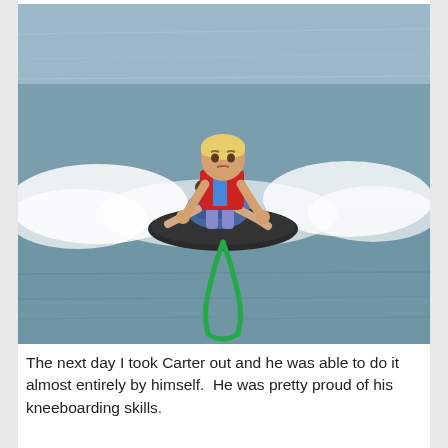[Figure (photo): A young blond boy in a red shirt and life vest standing/kneeling on a kneeboard being towed across a lake, with an adult woman behind him also on the board holding on. A green tow rope extends from the front of the board into the water. White wake spray surrounds them.]
The next day I took Carter out and he was able to do it almost entirely by himself.  He was pretty proud of his kneeboarding skills.